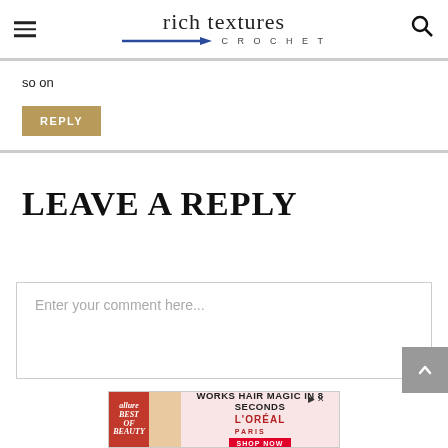rich textures CROCHET
so on
REPLY
LEAVE A REPLY
Enter your comment here...